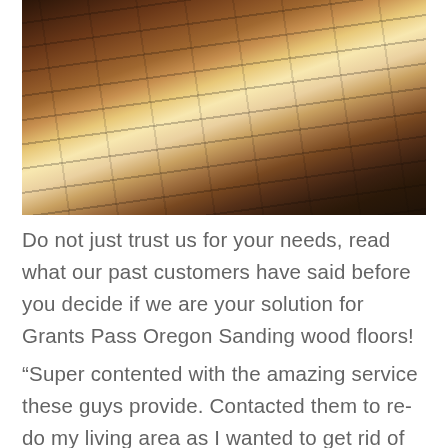[Figure (photo): Close-up photograph of dark hardwood floor planks with a sheen/reflection, showing the wood grain texture in dark brown tones with warm highlights.]
Do not just trust us for your needs, read what our past customers have said before you decide if we are your solution for Grants Pass Oregon Sanding wood floors!
“Super contented with the amazing service these guys provide. Contacted them to re-do my living area as I wanted to get rid of the stinky carpet. We